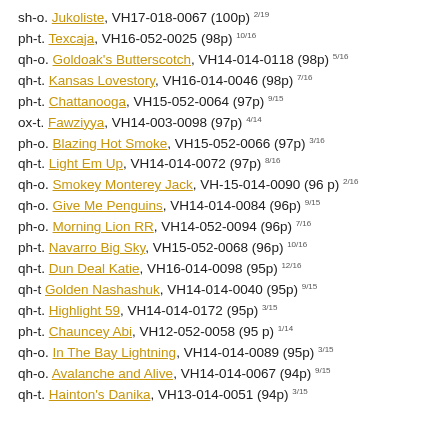sh-o. Jukoliste, VH17-018-0067 (100p) 2/19
ph-t. Texcaja, VH16-052-0025 (98p) 10/16
qh-o. Goldoak's Butterscotch, VH14-014-0118 (98p) 5/16
qh-t. Kansas Lovestory, VH16-014-0046 (98p) 7/16
ph-t. Chattanooga, VH15-052-0064 (97p) 9/15
ox-t. Fawziyya, VH14-003-0098 (97p) 4/14
ph-o. Blazing Hot Smoke, VH15-052-0066 (97p) 3/16
qh-t. Light Em Up, VH14-014-0072 (97p) 8/16
qh-o. Smokey Monterey Jack, VH-15-014-0090 (96 p) 2/16
qh-o. Give Me Penguins, VH14-014-0084 (96p) 9/15
ph-o. Morning Lion RR, VH14-052-0094 (96p) 7/16
ph-t. Navarro Big Sky, VH15-052-0068 (96p) 10/16
qh-t. Dun Deal Katie, VH16-014-0098 (95p) 12/16
qh-t Golden Nashashuk, VH14-014-0040 (95p) 9/15
qh-t. Highlight 59, VH14-014-0172 (95p) 3/15
ph-t. Chauncey Abi, VH12-052-0058 (95 p) 1/14
qh-o. In The Bay Lightning, VH14-014-0089 (95p) 3/15
qh-o. Avalanche and Alive, VH14-014-0067 (94p) 9/15
qh-t. Hainton's Danika, VH13-014-0051 (94p) 3/15